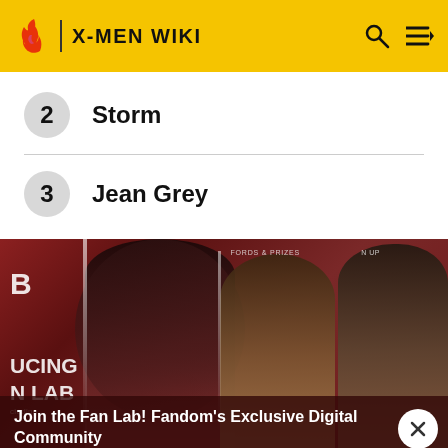X-MEN WIKI
2 Storm
3 Jean Grey
[Figure (photo): Promotional image for Fandom Fan Lab showing three superhero/comic characters on a dark red background with text overlays including 'B', 'UCING', 'N LAB', 'FORDS & PRIZES', 'N UP']
Join the Fan Lab! Fandom's Exclusive Digital Community